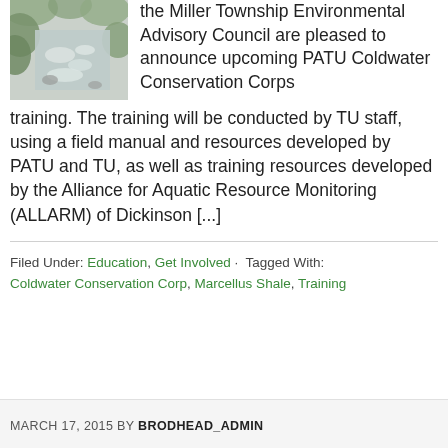[Figure (photo): A rushing creek or stream with rocky banks and overhanging green vegetation, misty/rainy conditions]
the Miller Township Environmental Advisory Council are pleased to announce upcoming PATU Coldwater Conservation Corps training. The training will be conducted by TU staff, using a field manual and resources developed by PATU and TU, as well as training resources developed by the Alliance for Aquatic Resource Monitoring (ALLARM) of Dickinson [...]
Filed Under: Education, Get Involved · Tagged With: Coldwater Conservation Corp, Marcellus Shale, Training
MARCH 17, 2015 BY BRODHEAD_ADMIN